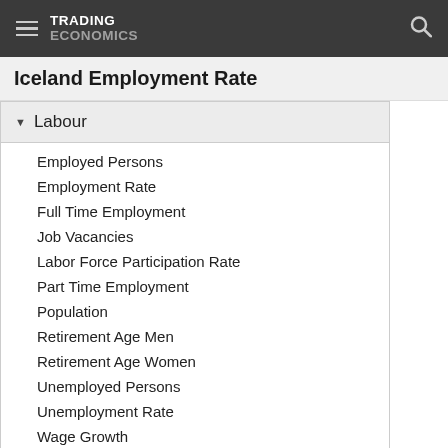TRADING ECONOMICS
Iceland Employment Rate
Labour
Employed Persons
Employment Rate
Full Time Employment
Job Vacancies
Labor Force Participation Rate
Part Time Employment
Population
Retirement Age Men
Retirement Age Women
Unemployed Persons
Unemployment Rate
Wage Growth
Wages
Youth Unemployment Rate